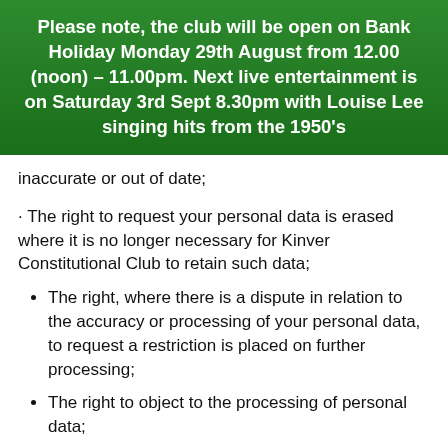Please note, the club will be open on Bank Holiday Monday 29th August from 12.00 (noon) – 11.00pm. Next live entertainment is on Saturday 3rd Sept 8.30pm with Louise Lee singing hits from the 1950's
inaccurate or out of date;
· The right to request your personal data is erased where it is no longer necessary for Kinver Constitutional Club to retain such data;
The right, where there is a dispute in relation to the accuracy or processing of your personal data, to request a restriction is placed on further processing;
The right to object to the processing of personal data;
The right to lodge a complaint with the Information Commissioners Office.